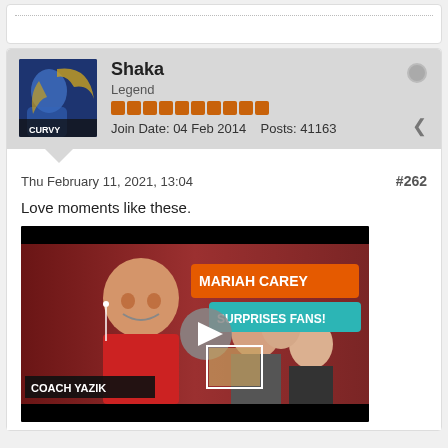Shaka
Legend
Join Date: 04 Feb 2014   Posts: 41163
Thu February 11, 2021, 13:04
#262
Love moments like these.
[Figure (screenshot): Video thumbnail showing a man laughing in a red jacket with earphones, title overlay MARIAH CAREY SURPRISES FANS!, play button in center, group of people reacting in background, COACH YAZIK text in lower left]